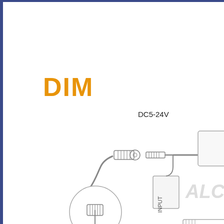DIM
[Figure (schematic): Electrical schematic showing DC5-24V barrel connector cable connecting to a power adapter with INPUT label and decorative ALC branding. A circular inset detail shows close-up of the barrel connector. Partial view of additional connector at bottom right.]